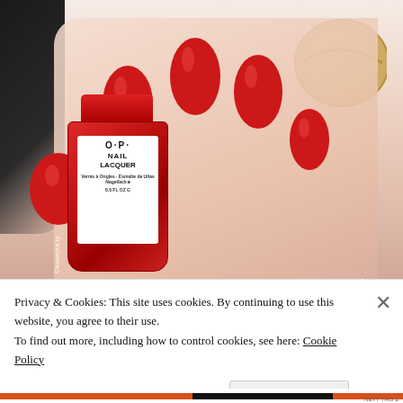[Figure (photo): A hand with bright red OPI Nail Lacquer painted nails holding a red OPI nail polish bottle. In the background is a fortune cookie on a white surface. A watermark reading 'kawnira.ty' is visible on the left side of the image.]
Privacy & Cookies: This site uses cookies. By continuing to use this website, you agree to their use.
To find out more, including how to control cookies, see here: Cookie Policy
Close and accept